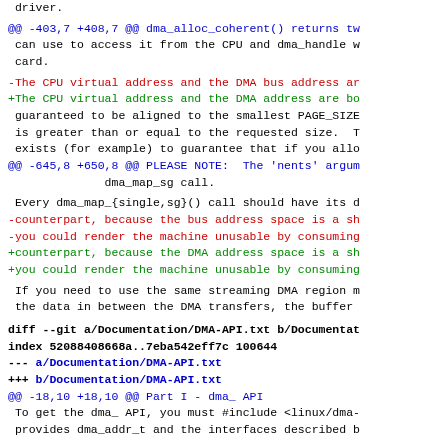driver.
@@ -403,7 +408,7 @@ dma_alloc_coherent() returns tw
 can use to access it from the CPU and dma_handle w
 card.
-The CPU virtual address and the DMA bus address ar
+The CPU virtual address and the DMA address are bo
 guaranteed to be aligned to the smallest PAGE_SIZE
 is greater than or equal to the requested size.  T
 exists (for example) to guarantee that if you allo
@@ -645,8 +650,8 @@ PLEASE NOTE:  The 'nents' argum
              dma_map_sg call.
Every dma_map_{single,sg}() call should have its d
-counterpart, because the bus address space is a sh
-you could render the machine unusable by consuming
+counterpart, because the DMA address space is a sh
+you could render the machine unusable by consuming
If you need to use the same streaming DMA region m
 the data in between the DMA transfers, the buffer
diff --git a/Documentation/DMA-API.txt b/Documentat
index 52088408668a..7eba542eff7c 100644
--- a/Documentation/DMA-API.txt
+++ b/Documentation/DMA-API.txt
@@ -18,10 +18,10 @@ Part I - dma_ API
 To get the dma_ API, you must #include <linux/dma-
  provides dma_addr_t and the interfaces described b